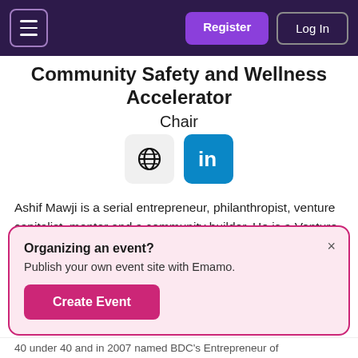Register | Log In
Community Safety and Wellness Accelerator
Chair
[Figure (illustration): Globe icon and LinkedIn icon side by side]
Ashif Mawji is a serial entrepreneur, philanthropist, venture capitalist, mentor and a community builder. He is a Venture Partner with Rising Tide (San Francisco...
Organizing an event?
Publish your own event site with Emamo.
Create Event
40 under 40 and in 2007 named BDC's Entrepreneur of